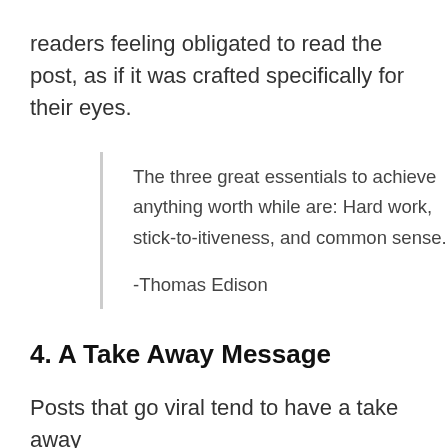readers feeling obligated to read the post, as if it was crafted specifically for their eyes.
The three great essentials to achieve anything worth while are: Hard work, stick-to-itiveness, and common sense.

-Thomas Edison
4. A Take Away Message
Posts that go viral tend to have a take away